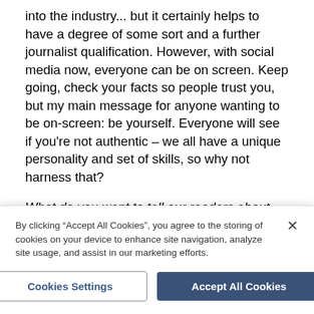into the industry... but it certainly helps to have a degree of some sort and a further journalist qualification. However, with social media now, everyone can be on screen. Keep going, check your facts so people trust you, but my main message for anyone wanting to be on-screen: be yourself. Everyone will see if you're not authentic – we all have a unique personality and set of skills, so why not harness that?
What do you want to tell our readers about most?
It's so important for us all to 'do our bit' throughout these challenging Covid-19 times. The NHS and so
By clicking "Accept All Cookies", you agree to the storing of cookies on your device to enhance site navigation, analyze site usage, and assist in our marketing efforts.
Cookies Settings
Accept All Cookies